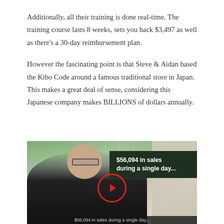Additionally, all their training is done real-time. The training course lasts 8 weeks, sets you back $3,497 as well as there's a 30-day reimbursement plan.
However the fascinating point is that Steve & Aidan based the Kibo Code around a famous traditional store in Japan. This makes a great deal of sense, considering this Japanese company makes BILLIONS of dollars annually.
[Figure (screenshot): Video thumbnail showing a man in a black shirt in what appears to be a bright indoor space, with a dark green overlay box reading '$56,094 in sales during a single day...' and a red play button in the center. A caption bar at the bottom reads '$56,094 in sales during a single day...']